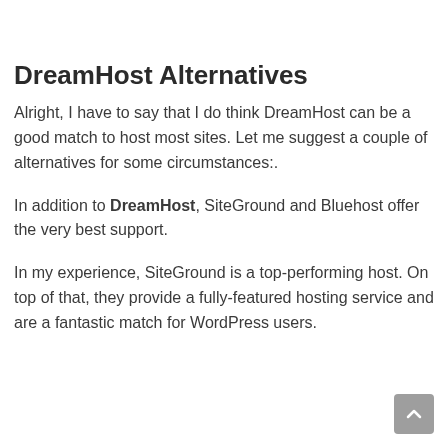DreamHost Alternatives
Alright, I have to say that I do think DreamHost can be a good match to host most sites. Let me suggest a couple of alternatives for some circumstances:.
In addition to DreamHost, SiteGround and Bluehost offer the very best support.
In my experience, SiteGround is a top-performing host. On top of that, they provide a fully-featured hosting service and are a fantastic match for WordPress users.